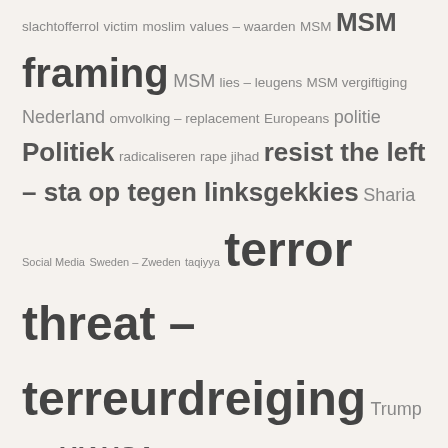slachtofferrol victim moslim values – waarden MSM MSM framing MSM lies – leugens MSM vergiftiging Nederland omvolking – replacement Europeans politie Politiek radicaliseren rape jihad resist the left – sta op tegen linksgekkies Sharia Social Media Sweden – Zweden taqiyya terror threat – terreurdreiging Trump Turkije UK USA vrouwen binnen islam welfare jihad white genocide zelfislamisering zelfmoord door tolerantie zelfvernietiging – selfdestruction
Quran/Islam knowledge sources
MohammedTimeline
Ayat – Koranverzen
Select Quran\Translation\Surah\Ayat
Bill Warner, Center Study Political Islam